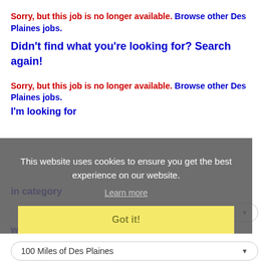Sorry, but this job is no longer available. Browse other Des Plaines jobs.
Didn't find what you're looking for? Search again!
Sorry, but this job is no longer available. Browse other Des Plaines jobs.
I'm looking for
This website uses cookies to ensure you get the best experience on our website.
Learn more
Got it!
in category
ALL
within
100 Miles of Des Plaines